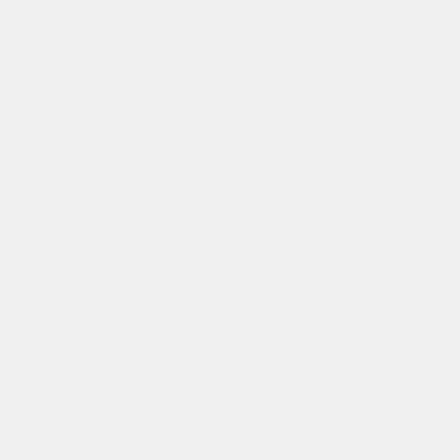Downloads
Sol 3194: Mars Hand Lens Imager (MAHLI) image/jpeg
DOWNLOAD
Embed
Embed this resource by pasting the following code into your website:
<iframe src="https://mars.nasa.gov/raw_images/embed/959427" width="400" height="400"
f  reddit  tweet  +